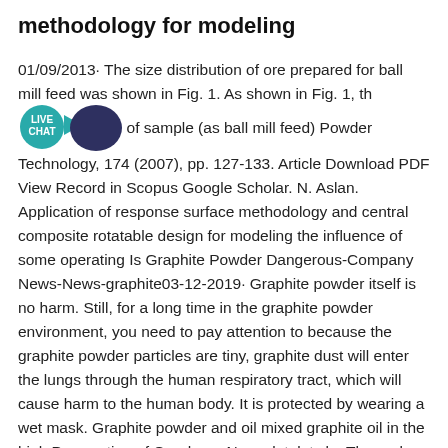methodology for modeling
01/09/2013· The size distribution of ore prepared for ball mill feed was shown in Fig. 1. As shown in Fig. 1, th of sample (as ball mill feed) Powder Technology, 174 (2007), pp. 127-133. Article Download PDF View Record in Scopus Google Scholar. N. Aslan. Application of response surface methodology and central composite rotatable design for modeling the influence of some operating Is Graphite Powder Dangerous-Company News-News-graphite03-12-2019· Graphite powder itself is no harm. Still, for a long time in the graphite powder environment, you need to pay attention to because the graphite powder particles are tiny, graphite dust will enter the lungs through the human respiratory tract, which will cause harm to the human body. It is protected by wearing a wet mask. Graphite powder and oil mixed graphite oil in the high Preparation of Graphene Nanoplatelets by Thermal Shock 28-04-2019· Graphene nanoplatelets